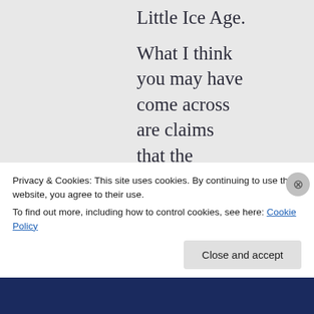Little Ice Age. What I think you may have come across are claims that the “Hockey Stick believers,” as you so insultingly put
Privacy & Cookies: This site uses cookies. By continuing to use this website, you agree to their use.
To find out more, including how to control cookies, see here: Cookie Policy
Close and accept